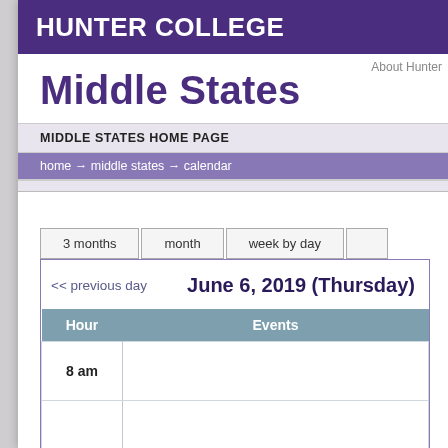HUNTER COLLEGE
About Hunter
Middle States
MIDDLE STATES HOME PAGE
home → middle states → calendar
3 months | month | week by day
<< previous day   June 6, 2019 (Thursday)
| Hour | Events |
| --- | --- |
| 8 am |  |
|  |  |
| 9 am |  |
|  |  |
| 10 am |  |
|  |  |